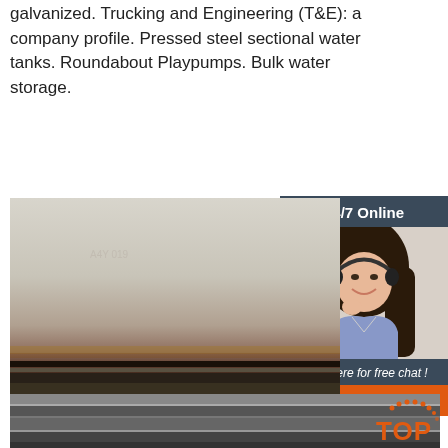galvanized. Trucking and Engineering (T&E): a company profile. Pressed steel sectional water tanks. Roundabout Playpumps. Bulk water storage.
[Figure (illustration): Green 'Get Price' button]
[Figure (illustration): Customer service chat widget with '24/7 Online' header, photo of woman with headset, 'Click here for free chat!' text, and orange 'QUOTATION' button]
[Figure (photo): Steel plates stacked horizontally, showing surface texture and layering]
[Figure (logo): TOP logo with orange dots arc and orange bold text 'TOP']